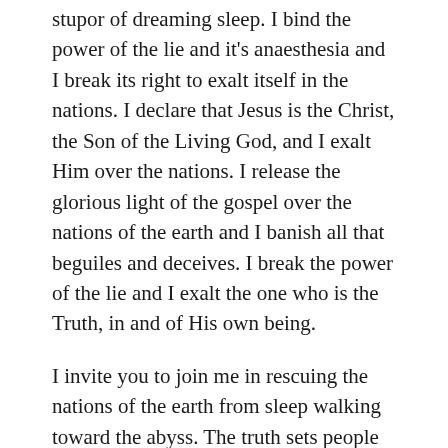stupor of dreaming sleep. I bind the power of the lie and it's anaesthesia and I break its right to exalt itself in the nations. I declare that Jesus is the Christ, the Son of the Living God, and I exalt Him over the nations. I release the glorious light of the gospel over the nations of the earth and I banish all that beguiles and deceives. I break the power of the lie and I exalt the one who is the Truth, in and of His own being.
I invite you to join me in rescuing the nations of the earth from sleep walking toward the abyss. The truth sets people free, so let us proclaim it and turn people back from the brink.
Filed Under: Ministry, Topical
Tagged With: apostle paul, Australian aboriginals, authority,